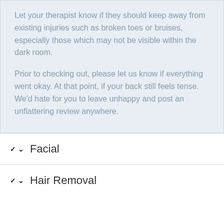Let your therapist know if they should keep away from existing injuries such as broken toes or bruises, especially those which may not be visible within the dark room.
Prior to checking out, please let us know if everything went okay. At that point, if your back still feels tense. We'd hate for you to leave unhappy and post an unflattering review anywhere.
Facial
Hair Removal